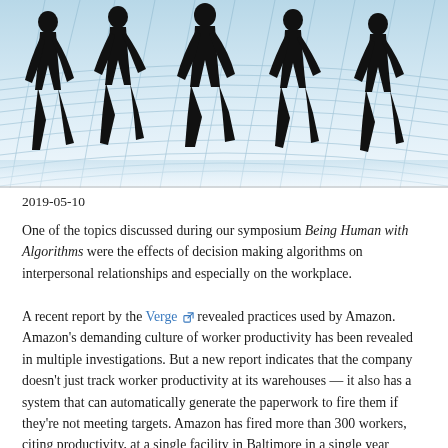[Figure (illustration): Silhouettes of five people walking across a curved blue and white grid/globe pattern background]
2019-05-10
One of the topics discussed during our symposium Being Human with Algorithms were the effects of decision making algorithms on interpersonal relationships and especially on the workplace.
A recent report by the Verge [external link] revealed practices used by Amazon. Amazon’s demanding culture of worker productivity has been revealed in multiple investigations. But a new report indicates that the company doesn’t just track worker productivity at its warehouses — it also has a system that can automatically generate the paperwork to fire them if they’re not meeting targets. Amazon has fired more than 300 workers, citing productivity, at a single facility in Baltimore in a single year (August 2017 through September 2018). Amazon’s system tracks a metric called “time off task,” meaning how much time workers pause or take breaks. It has been previously reported that some workers feel so pressured that they don’t take bathroom breaks. If the system determines